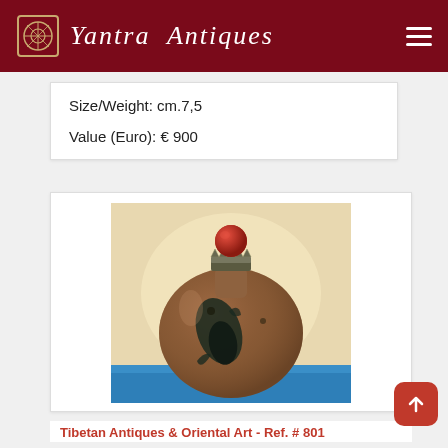Yantra Antiques
Size/Weight: cm.7,5
Value (Euro): € 900
[Figure (photo): An antique Tibetan snuff bottle, rounded brown agate form with dark mineral inclusion on the front face, fitted with a decorative metal crown cap topped with a red coral bead, displayed on a blue surface against a warm cream background.]
Tibetan Antiques & Oriental Art - Ref. # 801